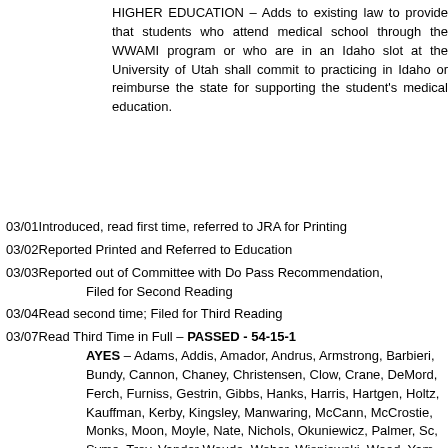HIGHER EDUCATION – Adds to existing law to provide that students who attend medical school through the WWAMI program or who are in an Idaho slot at the University of Utah shall commit to practicing in Idaho or reimburse the state for supporting the student's medical education.
03/01 Introduced, read first time, referred to JRA for Printing
03/02 Reported Printed and Referred to Education
03/03 Reported out of Committee with Do Pass Recommendation, Filed for Second Reading
03/04 Read second time; Filed for Third Reading
03/07 Read Third Time in Full – PASSED - 54-15-1 AYES – Adams, Addis, Amador, Andrus, Armstrong, Barbieri, Bundy, Cannon, Chaney, Christensen, Clow, Crane, DeMord, Ferch, Furniss, Gestrin, Gibbs, Hanks, Harris, Hartgen, Holtz, Kauffman, Kerby, Kingsley, Manwaring, McCann, McCrostie, Monks, Moon, Moyle, Nate, Nichols, Okuniewicz, Palmer, Sc, Syme, Troy, Vander Woude, Weber, Wisniewski, Wood, Yam, Youngblood, Mr. Speaker NAYS – Berch, Burns, Chew, Erickson, Galloway, Gannon, G, Mathias, Nash, Necochea, Rubel, Ruchti, Toone